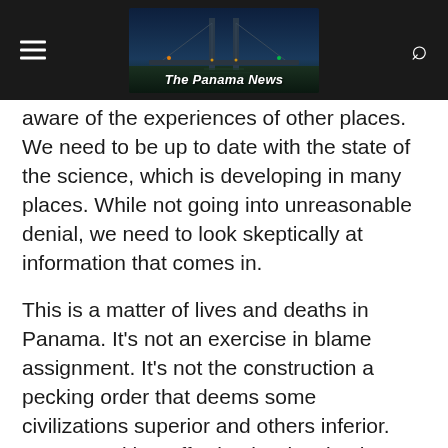The Panama News
aware of the experiences of other places. We need to be up to date with the state of the science, which is developing in many places. While not going into unreasonable denial, we need to look skeptically at information that comes in.
This is a matter of lives and deaths in Panama. It's not an exercise in blame assignment. It's not the construction a pecking order that deems some civilizations superior and others inferior. We can neither afford to be deceived, nor to shut our eyes out of fear of being deceived.
Here at The Crossroads of the World, we do have some sophistication about the ways of the many nations that trade or pass through here. A bit of worldly caution will save lives in our current crisis.